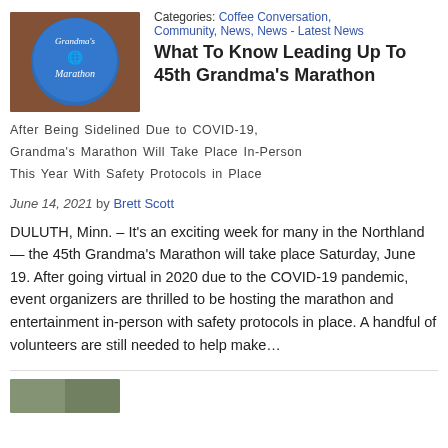[Figure (photo): Blue Grandma's Marathon balloon/logo photo thumbnail]
Categories: Coffee Conversation, Community, News, News - Latest News
What To Know Leading Up To 45th Grandma's Marathon
After Being Sidelined Due to COVID-19, Grandma's Marathon Will Take Place In-Person This Year With Safety Protocols in Place
June 14, 2021 by Brett Scott
DULUTH, Minn. – It's an exciting week for many in the Northland — the 45th Grandma's Marathon will take place Saturday, June 19. After going virtual in 2020 due to the COVID-19 pandemic, event organizers are thrilled to be hosting the marathon and entertainment in-person with safety protocols in place. A handful of volunteers are still needed to help make…
[Figure (photo): Small thumbnail image at bottom of page]